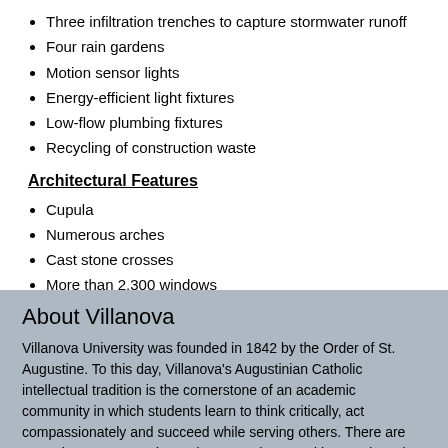Three infiltration trenches to capture stormwater runoff
Four rain gardens
Motion sensor lights
Energy-efficient light fixtures
Low-flow plumbing fixtures
Recycling of construction waste
Architectural Features
Cupula
Numerous arches
Cast stone crosses
More than 2,300 windows
Geometric layout and design allows for a view from the Arch Hall courtyard to Friar Hall
About Villanova
Villanova University was founded in 1842 by the Order of St. Augustine. To this day, Villanova's Augustinian Catholic intellectual tradition is the cornerstone of an academic community in which students learn to think critically, act compassionately and succeed while serving others. There are more than 10,000 undergraduate, graduate and law students in the University's six colleges